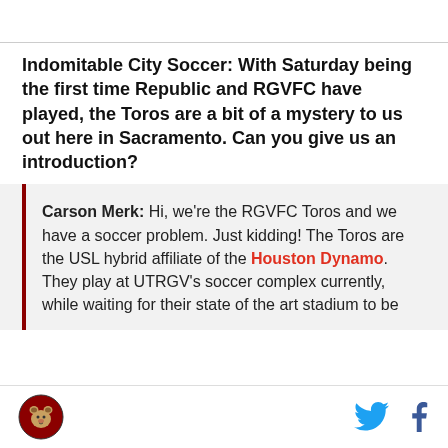Indomitable City Soccer: With Saturday being the first time Republic and RGVFC have played, the Toros are a bit of a mystery to us out here in Sacramento. Can you give us an introduction?
Carson Merk: Hi, we're the RGVFC Toros and we have a soccer problem. Just kidding! The Toros are the USL hybrid affiliate of the Houston Dynamo. They play at UTRGV's soccer complex currently, while waiting for their state of the art stadium to be